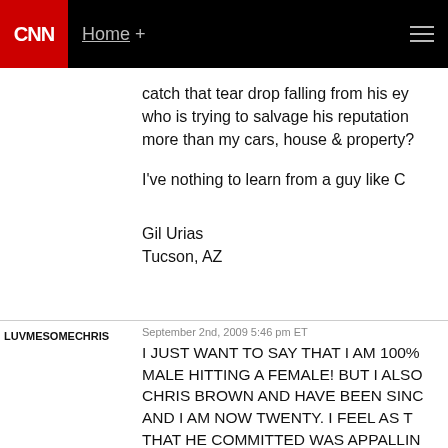CNN | Home +
catch that tear drop falling from his ey
who is trying to salvage his reputation
more than my cars, house & property?
I've nothing to learn from a guy like C
Gil Urias
Tucson, AZ
LUVMESOMECHRIS | September 2nd, 2009 5:46 pm ET
I JUST WANT TO SAY THAT I AM 100%
MALE HITTING A FEMALE! BUT I ALSO
CHRIS BROWN AND HAVE BEEN SINC
AND I AM NOW TWENTY. I FEEL AS T
THAT HE COMMITTED WAS APPALLIN
PUNISHMENT WAS CORRECT! BUT, H
LOSS ENDORSEMENTS BECAUSE OF
THOUGH ALL THE FANS WHO TURNE
HIM WAS NEVER FANS AT ALL. AND